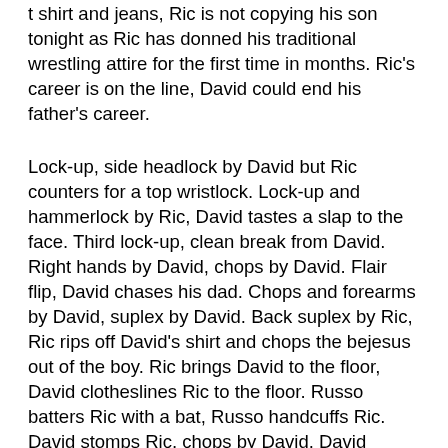t shirt and jeans, Ric is not copying his son tonight as Ric has donned his traditional wrestling attire for the first time in months. Ric's career is on the line, David could end his father's career.
Lock-up, side headlock by David but Ric counters for a top wristlock. Lock-up and hammerlock by Ric, David tastes a slap to the face. Third lock-up, clean break from David. Right hands by David, chops by David. Flair flip, David chases his dad. Chops and forearms by David, suplex by David. Back suplex by Ric, Ric rips off David's shirt and chops the bejesus out of the boy. Ric brings David to the floor, David clotheslines Ric to the floor. Russo batters Ric with a bat, Russo handcuffs Ric. David stomps Ric, chops by David. David struts, Figure Four by David. Russo holds David's hands for leverage, mounted punches by David. Lil Naitch stops David cheating, Reid Flair low blows Russo. David has Reid, Lil Naitch frees Ric.